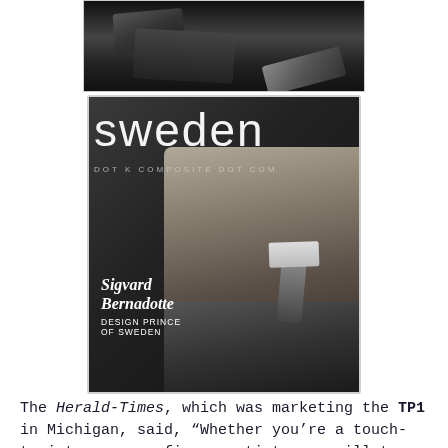[Figure (photo): Black and white photo cropped at top of page, showing a person with hands near a device or typewriter]
[Figure (photo): Magazine cover for 'sweden' publication, DOT K COMPOSITE DOT COM watermark, featuring Sigvard Bernadotte, Design Prince of Sweden, black and white portrait photo]
The Herald-Times, which was marketing the TP1 in Michigan, said, "Whether you're a touch-typist or a one-finger artist, you will type